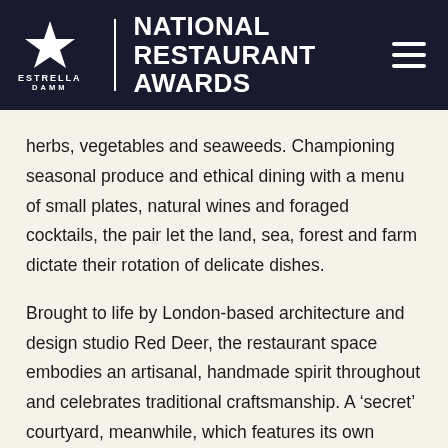[Figure (logo): Estrella Damm National Restaurant Awards logo with star icon, vertical divider, and award title in white on dark navy background. Hamburger menu icon on the right.]
herbs, vegetables and seaweeds. Championing seasonal produce and ethical dining with a menu of small plates, natural wines and foraged cocktails, the pair let the land, sea, forest and farm dictate their rotation of delicate dishes.
Brought to life by London-based architecture and design studio Red Deer, the restaurant space embodies an artisanal, handmade spirit throughout and celebrates traditional craftsmanship. A ‘secret’ courtyard, meanwhile, which features its own ‘garden bites menu’, offers an idyllic retreat from the hustle and bustle of central London.
T...